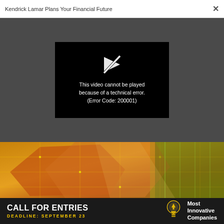Kendrick Lamar Plans Your Financial Future  ×
[Figure (screenshot): Video player showing error: 'This video cannot be played because of a technical error. (Error Code: 200001)' on a black background, embedded in a dark gray overlay area.]
[Figure (photo): Close-up macro photograph of a colorful circuit board with orange, yellow, and green tones.]
[Figure (infographic): Dark banner advertisement reading 'CALL FOR ENTRIES DEADLINE: SEPTEMBER 23' with a light bulb icon and 'Most Innovative Companies' text in white on dark background.]